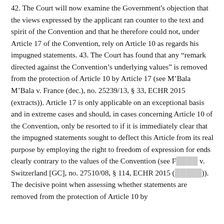42. The Court will now examine the Government's objection that the views expressed by the applicant ran counter to the text and spirit of the Convention and that he therefore could not, under Article 17 of the Convention, rely on Article 10 as regards his impugned statements. 43. The Court has found that any “remark directed against the Convention’s underlying values” is removed from the protection of Article 10 by Article 17 (see M’Bala M’Bala v. France (dec.), no. 25239/13, § 33, ECHR 2015 (extracts)). Article 17 is only applicable on an exceptional basis and in extreme cases and should, in cases concerning Article 10 of the Convention, only be resorted to if it is immediately clear that the impugned statements sought to deflect this Article from its real purpose by employing the right to freedom of expression for ends clearly contrary to the values of the Convention (see F[...] v. Switzerland [GC], no. 27510/08, § 114, ECHR 2015 ([...])). The decisive point when assessing whether statements are removed from the protection of Article 10 by